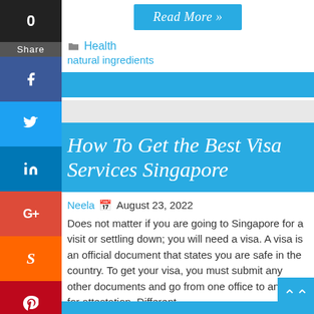[Figure (screenshot): Social sharing sidebar with count (0), Share label, and icons for Facebook, Twitter, LinkedIn, Google+, StumbleUpon, Pinterest, and more]
Read More »
Health
natural ingredients
How To Get the Best Visa Services Singapore
Neela  August 23, 2022
Does not matter if you are going to Singapore for a visit or settling down; you will need a visa. A visa is an official document that states you are safe in the country. To get your visa, you must submit any other documents and go from one office to another for attestation. Different